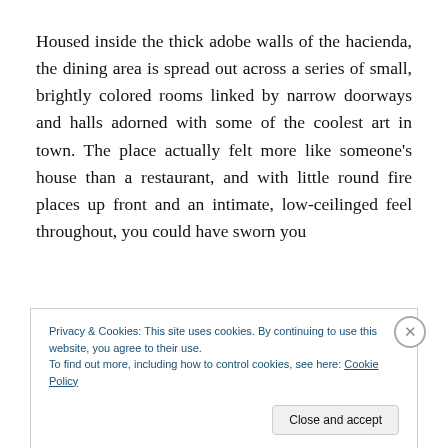Housed inside the thick adobe walls of the hacienda, the dining area is spread out across a series of small, brightly colored rooms linked by narrow doorways and halls adorned with some of the coolest art in town. The place actually felt more like someone’s house than a restaurant, and with little round fire places up front and an intimate, low-ceilinged feel throughout, you could have sworn you
Privacy & Cookies: This site uses cookies. By continuing to use this website, you agree to their use.
To find out more, including how to control cookies, see here: Cookie Policy